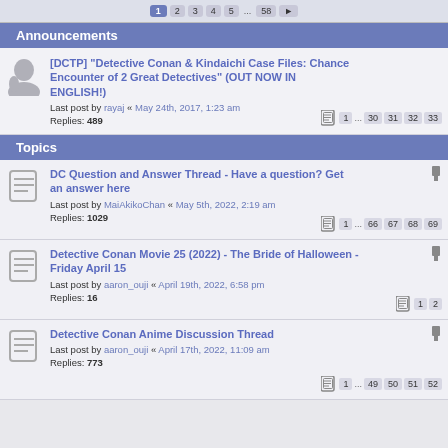Pagination bar: 1 2 3 4 5 ... 58
Announcements
[DCTP] "Detective Conan & Kindaichi Case Files: Chance Encounter of 2 Great Detectives" (OUT NOW IN ENGLISH!) — Last post by rayaj « May 24th, 2017, 1:23 am — Replies: 489 — Pages: 1 ... 30 31 32 33
Topics
DC Question and Answer Thread - Have a question? Get an answer here — Last post by MaiAkikoChan « May 5th, 2022, 2:19 am — Replies: 1029 — Pages: 1 ... 66 67 68 69
Detective Conan Movie 25 (2022) - The Bride of Halloween - Friday April 15 — Last post by aaron_ouji « April 19th, 2022, 6:58 pm — Replies: 16 — Pages: 1 2
Detective Conan Anime Discussion Thread — Last post by aaron_ouji « April 17th, 2022, 11:09 am — Replies: 773 — Pages: 1 ... 49 50 51 52